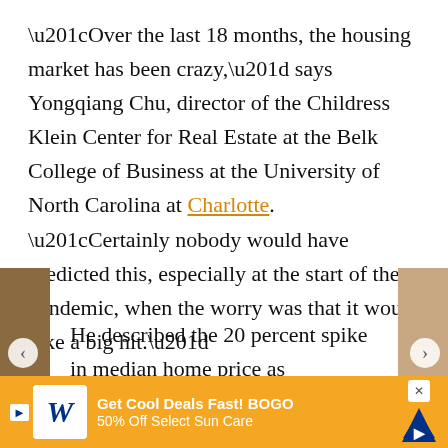“Over the last 18 months, the housing market has been crazy,” says Yongqiang Chu, director of the Childress Klein Center for Real Estate at the Belk College of Business at the University of North Carolina at Charlotte. “Certainly nobody would have predicted this, especially at the start of the pandemic, when the worry was that it would take a big hit.”
He described the 20 percent spike in median home price as “very dramatic, even considering the rapid growth…